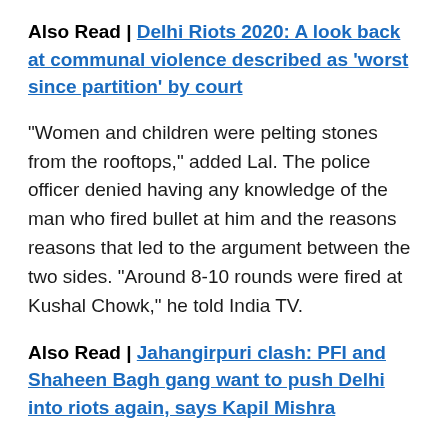Also Read | Delhi Riots 2020: A look back at communal violence described as 'worst since partition' by court
“Women and children were pelting stones from the rooftops,” added Lal. The police officer denied having any knowledge of the man who fired bullet at him and the reasons reasons that led to the argument between the two sides. “Around 8-10 rounds were fired at Kushal Chowk,” he told India TV.
Also Read | Jahangirpuri clash: PFI and Shaheen Bagh gang want to push Delhi into riots again, says Kapil Mishra